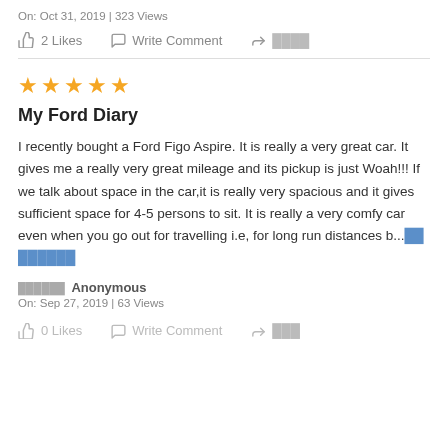On: Oct 31, 2019 | 323 Views
2 Likes   Write Comment   ████
★★★★★
My Ford Diary
I recently bought a Ford Figo Aspire. It is really a very great car. It gives me a really very great mileage and its pickup is just Woah!!! If we talk about space in the car,it is really very spacious and it gives sufficient space for 4-5 persons to sit. It is really a very comfy car even when you go out for travelling i.e, for long run distances b...██ ██████
██████ Anonymous
On: Sep 27, 2019 | 63 Views
0 Likes   Write Comment   ███